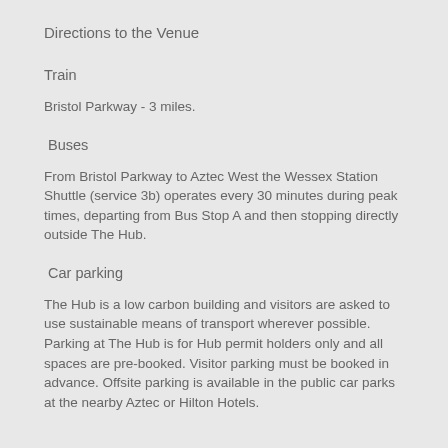Directions to the Venue
Train
Bristol Parkway - 3 miles.
Buses
From Bristol Parkway to Aztec West the Wessex Station Shuttle (service 3b) operates every 30 minutes during peak times, departing from Bus Stop A and then stopping directly outside The Hub.
Car parking
The Hub is a low carbon building and visitors are asked to use sustainable means of transport wherever possible. Parking at The Hub is for Hub permit holders only and all spaces are pre-booked. Visitor parking must be booked in advance. Offsite parking is available in the public car parks at the nearby Aztec or Hilton Hotels.